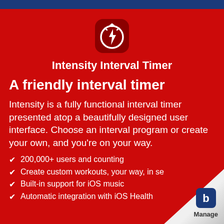[Figure (logo): Intensity Interval Timer app icon: stopwatch with lightning bolt on dark red rounded square background]
Intensity Interval Timer
A friendly interval timer
Intensity is a fully functional interval timer presented atop a beautifully designed user interface. Choose an interval program or create your own, and you're on your way.
200,000+ users and counting
Create custom workouts, your way, in se...
Built-in support for iOS music
Automatic integration with iOS Health...
[Figure (logo): Page curl/peel in bottom-right corner revealing white underside with Manage logo (blue hexagon B shape and text 'Manage')]